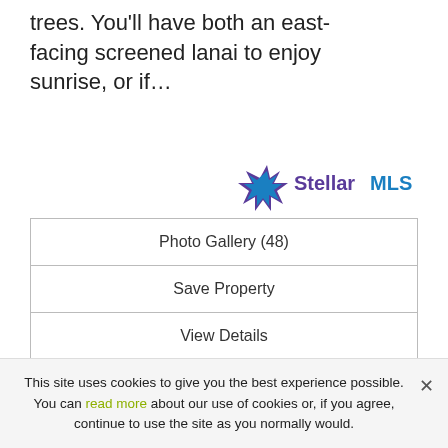trees. You'll have both an east-facing screened lanai to enjoy sunrise, or if…
[Figure (logo): Stellar MLS logo with blue and purple star icon and 'StellarMLS' text]
| Photo Gallery (48) |
| Save Property |
| View Details |
[Figure (photo): Exterior photo of a multi-story residential condominium building with palm trees in front under a partly cloudy sky]
This site uses cookies to give you the best experience possible. You can read more about our use of cookies or, if you agree, continue to use the site as you normally would.